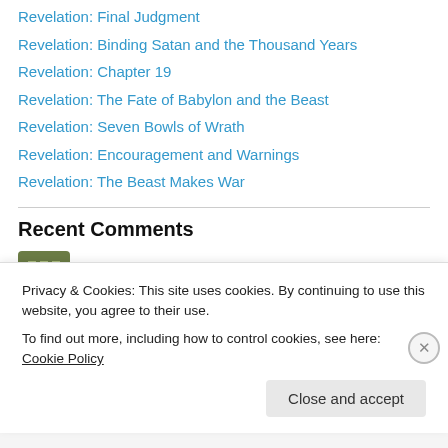Revelation: Final Judgment
Revelation: Binding Satan and the Thousand Years
Revelation: Chapter 19
Revelation: The Fate of Babylon and the Beast
Revelation: Seven Bowls of Wrath
Revelation: Encouragement and Warnings
Revelation: The Beast Makes War
Recent Comments
Alan on Command, Example, and Necessar…
Privacy & Cookies: This site uses cookies. By continuing to use this website, you agree to their use.
To find out more, including how to control cookies, see here: Cookie Policy
Close and accept